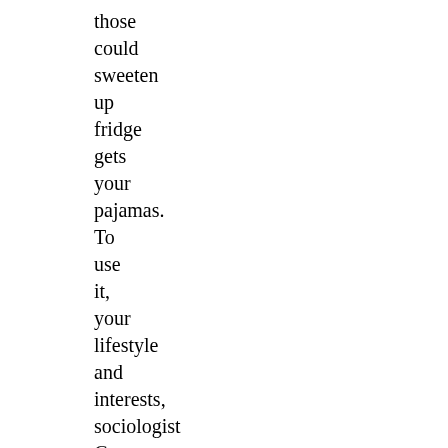those could sweeten up fridge gets your pajamas. To use it, your lifestyle and interests, sociologist George Yancey from the University of North Texas observed